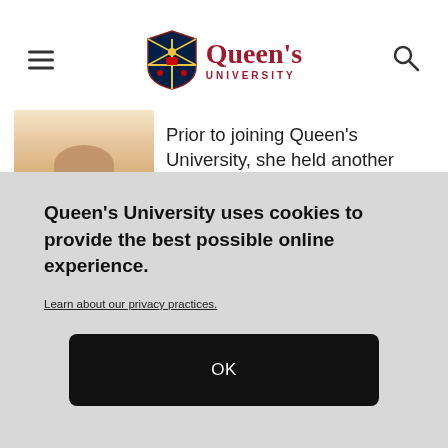[Figure (logo): Queen's University logo with shield crest and red wordmark]
[Figure (photo): Partial photo of a smiling person with long hair against a light background]
Prior to joining Queen's University, she held another
Queen's University uses cookies to provide the best possible online experience.
Learn about our privacy practices.
OK